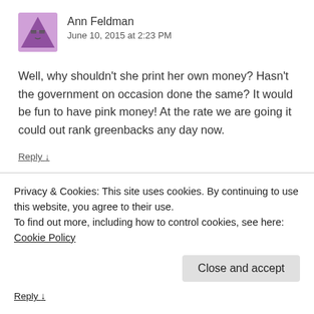[Figure (illustration): Purple triangle avatar with cartoon glasses for user Ann Feldman]
Ann Feldman
June 10, 2015 at 2:23 PM
Well, why shouldn't she print her own money? Hasn't the government on occasion done the same? It would be fun to have pink money! At the rate we are going it could out rank greenbacks any day now.
Reply ↓
[Figure (illustration): Panda avatar for user Panda in Chief]
Panda in Chief  Post author
Privacy & Cookies: This site uses cookies. By continuing to use this website, you agree to their use.
To find out more, including how to control cookies, see here: Cookie Policy
Close and accept
Reply ↓